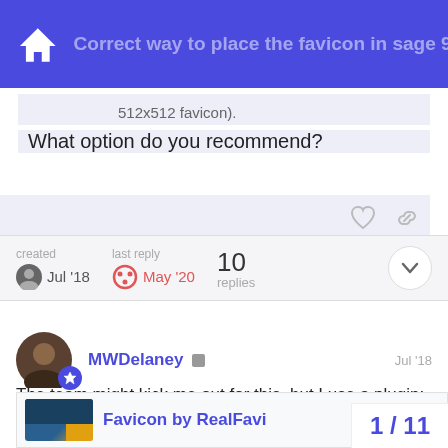Correct way to place the favicon in sage 9
512x512 favicon).
What option do you recommend?
created  Jul '18   last reply  May '20   10 replies
MWDelaney  Jul '18
The team might kick me out for this, but I use a plugin:
[Figure (screenshot): WordPress.org link preview card showing 'Favicon by RealFavi...']
1 / 11